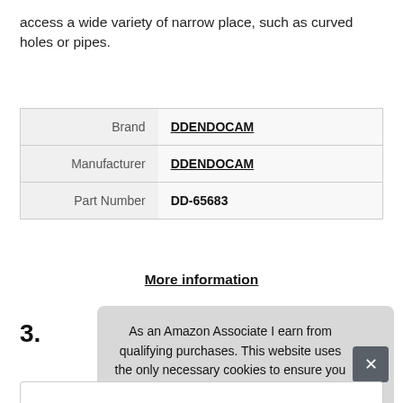access a wide variety of narrow place, such as curved holes or pipes.
| Brand | DDENDOCAM |
| Manufacturer | DDENDOCAM |
| Part Number | DD-65683 |
More information
3.
As an Amazon Associate I earn from qualifying purchases. This website uses the only necessary cookies to ensure you get the best experience on our website. More information